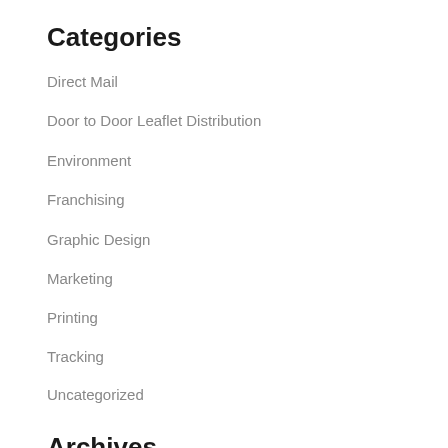Categories
Direct Mail
Door to Door Leaflet Distribution
Environment
Franchising
Graphic Design
Marketing
Printing
Tracking
Uncategorized
Archives
August 2022
June 2022
May 2022